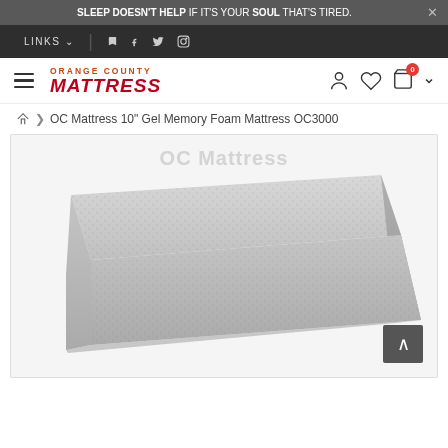SLEEP DOESN'T HELP IF IT'S YOUR SOUL THAT'S TIRED.
LINKS | social icons
[Figure (logo): Orange County Mattress logo with hamburger menu, user icon, heart icon, cart icon with 0 badge]
OC Mattress 10" Gel Memory Foam Mattress OC3000
[Figure (photo): Product photo of a grey gel memory foam mattress (OC3000) with knit fabric cover, shown at an angle on white background. Watermark text partially visible.]